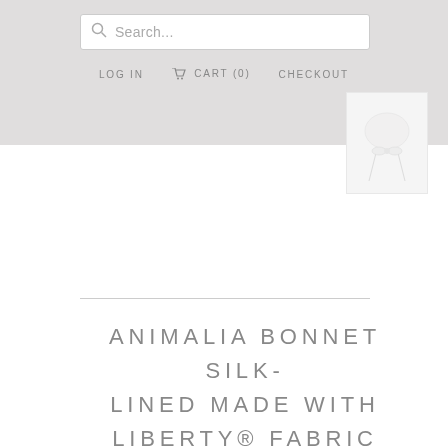Search... | LOG IN | CART (0) | CHECKOUT
[Figure (photo): Small thumbnail image of the Animalia Bonnet product, showing a white bonnet with ribbons on a light background]
ANIMALIA BONNET SILK-LINED MADE WITH LIBERTY® FABRIC